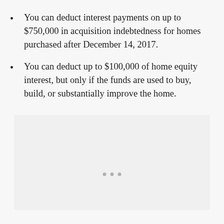You can deduct interest payments on up to $750,000 in acquisition indebtedness for homes purchased after December 14, 2017.
You can deduct up to $100,000 of home equity interest, but only if the funds are used to buy, build, or substantially improve the home.